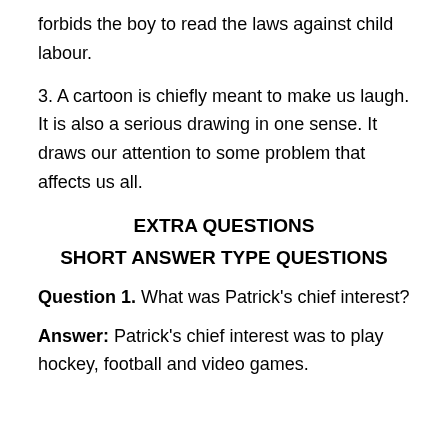forbids the boy to read the laws against child labour.
3. A cartoon is chiefly meant to make us laugh. It is also a serious drawing in one sense. It draws our attention to some problem that affects us all.
EXTRA QUESTIONS
SHORT ANSWER TYPE QUESTIONS
Question 1. What was Patrick's chief interest?
Answer: Patrick's chief interest was to play hockey, football and video games.